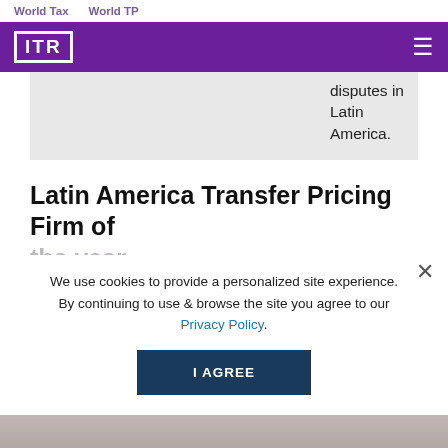World Tax    World TP
[Figure (logo): ITR logo in white on purple background with hamburger menu icon]
disputes in Latin America.
Latin America Transfer Pricing Firm of the year
PwC
PwC
demonstrated
We use cookies to provide a personalized site experience. By continuing to use & browse the site you agree to our Privacy Policy.
I AGREE